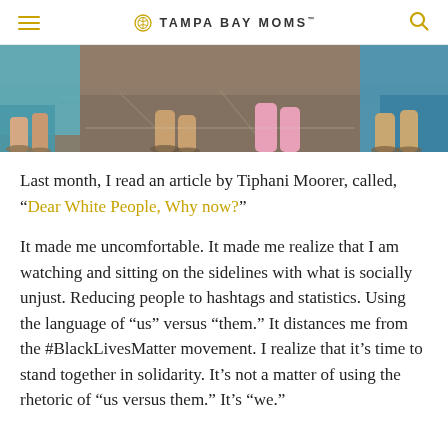TAMPA BAY MOMS
[Figure (photo): Aerial/close-up view of children's feet and legs standing on a wet reflective surface outdoors, wearing colorful clothing and sandals.]
Last month, I read an article by Tiphani Moorer, called, “Dear White People, Why now?”
It made me uncomfortable. It made me realize that I am watching and sitting on the sidelines with what is socially unjust. Reducing people to hashtags and statistics. Using the language of “us” versus “them.” It distances me from the #BlackLivesMatter movement. I realize that it’s time to stand together in solidarity. It’s not a matter of using the rhetoric of “us versus them.” It’s “we.”